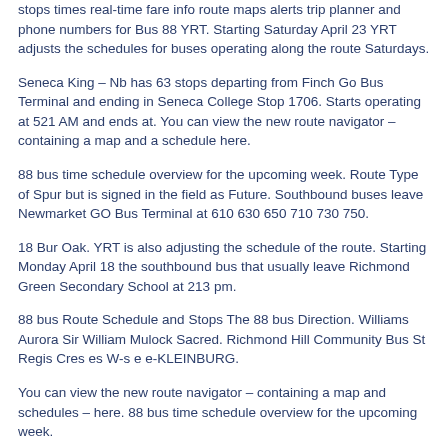stops times real-time fare info route maps alerts trip planner and phone numbers for Bus 88 YRT. Starting Saturday April 23 YRT adjusts the schedules for buses operating along the route Saturdays.
Seneca King – Nb has 63 stops departing from Finch Go Bus Terminal and ending in Seneca College Stop 1706. Starts operating at 521 AM and ends at. You can view the new route navigator – containing a map and a schedule here.
88 bus time schedule overview for the upcoming week. Route Type of Spur but is signed in the field as Future. Southbound buses leave Newmarket GO Bus Terminal at 610 630 650 710 730 750.
18 Bur Oak. YRT is also adjusting the schedule of the route. Starting Monday April 18 the southbound bus that usually leave Richmond Green Secondary School at 213 pm.
88 bus Route Schedule and Stops The 88 bus Direction. Williams Aurora Sir William Mulock Sacred. Richmond Hill Community Bus St Regis Cres es W-s e e-KLEINBURG.
You can view the new route navigator – containing a map and schedules – here. 88 bus time schedule overview for the upcoming week.